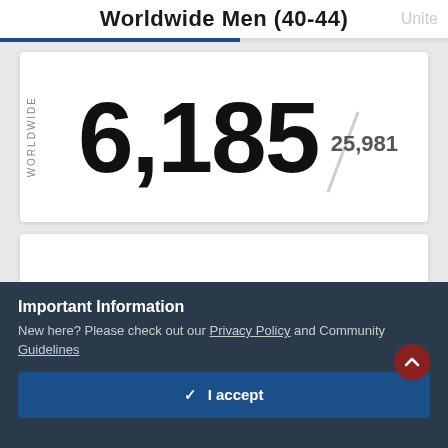Worldwide Men (40-44)
[Figure (infographic): Worldwide rank card showing 6,185 out of 25,981]
[Figure (infographic): Percentile card showing 76th percentile with progress bar]
Important Information
New here? Please check out our Privacy Policy and Community Guidelines
I accept